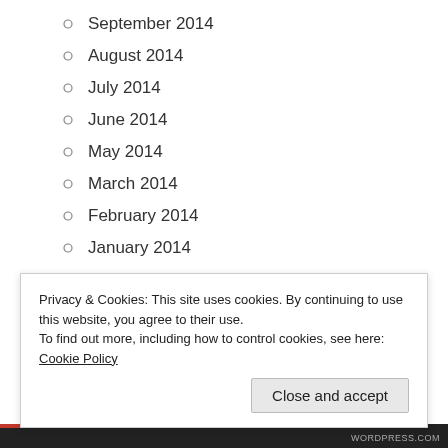September 2014
August 2014
July 2014
June 2014
May 2014
March 2014
February 2014
January 2014
December 2013
November 2013
October 2013
September 2013
August 2013
Privacy & Cookies: This site uses cookies. By continuing to use this website, you agree to their use.
To find out more, including how to control cookies, see here: Cookie Policy
Close and accept